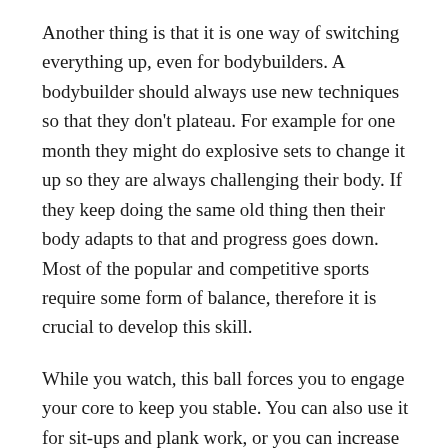Another thing is that it is one way of switching everything up, even for bodybuilders. A bodybuilder should always use new techniques so that they don't plateau. For example for one month they might do explosive sets to change it up so they are always challenging their body. If they keep doing the same old thing then their body adapts to that and progress goes down. Most of the popular and competitive sports require some form of balance, therefore it is crucial to develop this skill.
While you watch, this ball forces you to engage your core to keep you stable. You can also use it for sit-ups and plank work, or you can increase your flexibility by practicing backbends. This ball is also extremely durable and even comes with two extra air stoppers in case you need to replace the original. You can even choose from a bunch of sizes and